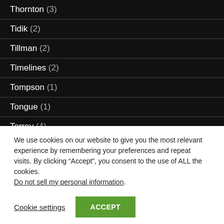Thornton (3)
Tidik (2)
Tillman (2)
Timelines (2)
Tompson (1)
Tongue (1)
Torrey (4)
We use cookies on our website to give you the most relevant experience by remembering your preferences and repeat visits. By clicking “Accept”, you consent to the use of ALL the cookies.
Do not sell my personal information.
Cookie settings  ACCEPT